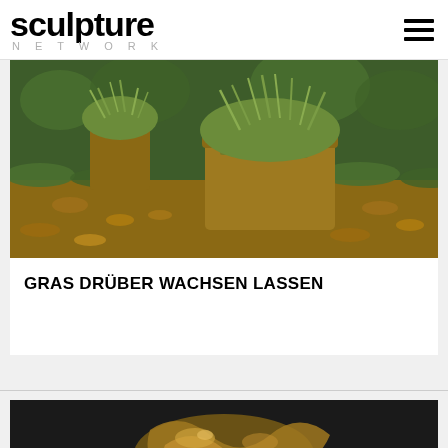sculpture NETWORK
[Figure (photo): Outdoor photograph of tree stumps covered with grass and moss in a forest setting, surrounded by fallen autumn leaves and green undergrowth]
GRAS DRÜBER WACHSEN LASSEN
[Figure (photo): Close-up photograph of a bronze or metallic sculpture showing abstract intertwined forms on a dark background]